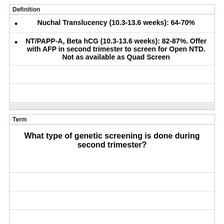Definition
Nuchal Translucency (10.3-13.6 weeks): 64-70%
NT/PAPP-A, Beta hCG (10.3-13.6 weeks): 82-87%. Offer with AFP in second trimester to screen for Open NTD. Not as available as Quad Screen
Term
What type of genetic screening is done during second trimester?